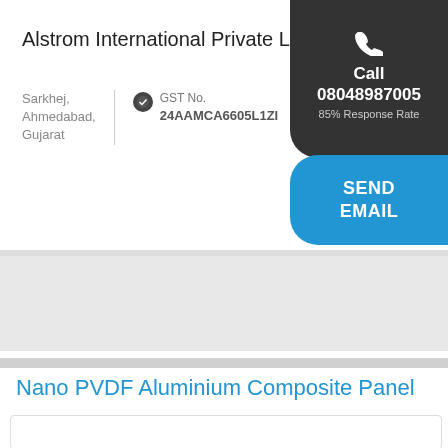Alstrom International Private Limited
Sarkhej, Ahmedabad, Gujarat
GST No. 24AAMCA6605L1ZI
TrustSEAL Verified
Call 08048987005 85% Response Rate
SEND EMAIL
Nano PVDF Aluminium Composite Panel